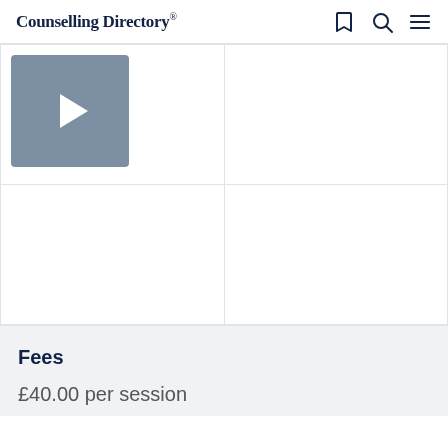Counselling Directory
[Figure (screenshot): 2x2 grid of counsellor profile images. Top-left cell contains a video thumbnail with a play button icon on a grey background. The other three cells are empty white boxes.]
Fees
£40.00 per session